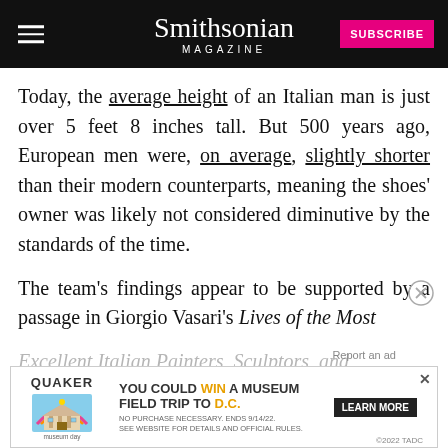Smithsonian MAGAZINE
Today, the average height of an Italian man is just over 5 feet 8 inches tall. But 500 years ago, European men were, on average, slightly shorter than their modern counterparts, meaning the shoes' owner was likely not considered diminutive by the standards of the time.
The team's findings appear to be supported by a passage in Giorgio Vasari's Lives of the Most Excellent Italian Painters, Sculptors, and Architects. Per A[...] describes the artist as being of "middle height
[Figure (screenshot): Quaker Museum Day advertisement banner: YOU COULD WIN A MUSEUM FIELD TRIP TO D.C. LEARN MORE]